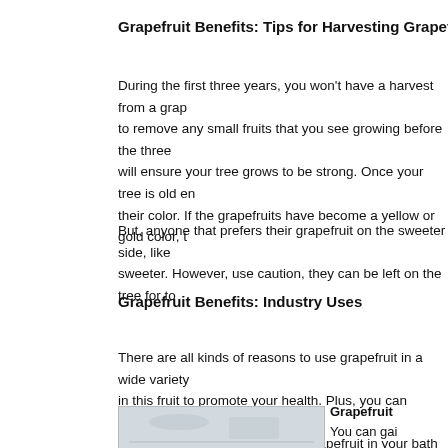Grapefruit Benefits: Tips for Harvesting Grapefruits
During the first three years, you won't have a harvest from a grap to remove any small fruits that you see growing before the three will ensure your tree grows to be strong. Once your tree is old en their color. If the grapefruits have become a yellow or gold color, t
But, anyone that prefers their grapefruit on the sweeter side, like sweeter. However, use caution, they can be left on the tree for to
Grapefruit Benefits: Industry Uses
There are all kinds of reasons to use grapefruit in a wide variety in this fruit to promote your health. Plus, you can incorporate mor wonderful benefits by including grapefruit in your bath and body
[Figure (photo): Light gray/blue toned photo, partially visible at bottom of page]
Grapefruit
You can gai